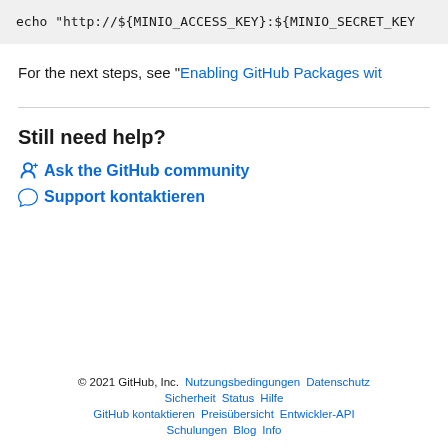echo "http://${MINIO_ACCESS_KEY}:${MINIO_SECRET_KEY
For the next steps, see "Enabling GitHub Packages wit
Still need help?
Ask the GitHub community
Support kontaktieren
© 2021 GitHub, Inc. Nutzungsbedingungen Datenschutz Sicherheit Status Hilfe GitHub kontaktieren Preisübersicht Entwickler-API Schulungen Blog Info